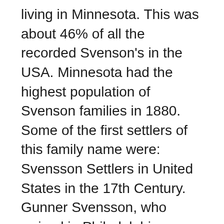living in Minnesota. This was about 46% of all the recorded Svenson's in the USA. Minnesota had the highest population of Svenson families in 1880. Some of the first settlers of this family name were: Svensson Settlers in United States in the 17th Century. Gunner Svensson, who arrived in Philadelphia, Pennsylvania in 1627 ; Jacob Svensson, who landed in Delaware in 1643 ; Johan Svensson, who landed in Delaware in 1693 ; Gunnar Svensson, who arrived in Delaware in 1693 ; Svensson Settlers in United States in the 19th Century The last name Svenson is the 119,522 nd most widely held family name in the world, borne by approximately 1 in 1,895,331 people. The last name Svenson occurs predominantly in The Americas, where 48 percent of Svenson live; 44 percent live in North America and 44 percent live in... As a last